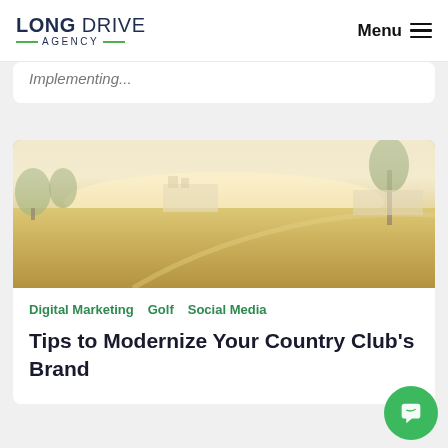LONG DRIVE AGENCY — Menu
Implementing...
[Figure (photo): Golf course scene with golden-toned grass fairway, trees, and a clubhouse building in the background under a bright hazy sky]
Digital Marketing  Golf  Social Media
Tips to Modernize Your Country Club's Brand